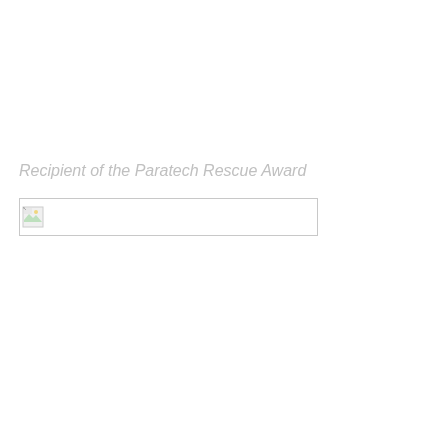Recipient of the Paratech Rescue Award
[Figure (photo): A broken/missing image placeholder showing a small thumbnail icon with a border, representing an award image that failed to load.]